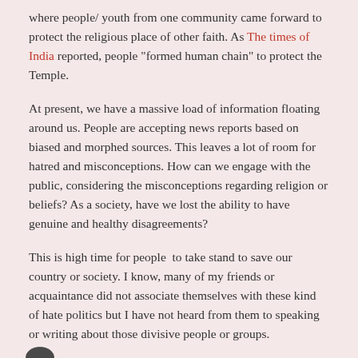where people/ youth from one community came forward to protect the religious place of other faith. As The times of India reported, people "formed human chain" to protect the Temple.
At present, we have a massive load of information floating around us. People are accepting news reports based on biased and morphed sources. This leaves a lot of room for hatred and misconceptions. How can we engage with the public, considering the misconceptions regarding religion or beliefs? As a society, have we lost the ability to have genuine and healthy disagreements?
This is high time for people  to take stand to save our country or society. I know, many of my friends or acquaintance did not associate themselves with these kind of hate politics but I have not heard from them to speaking or writing about those divisive people or groups.
[Figure (other): Partial image of a person visible at the bottom left corner of the page]